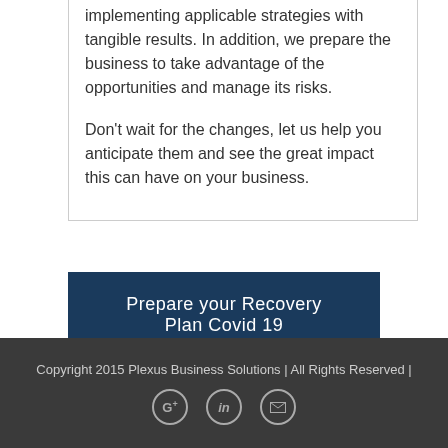implementing applicable strategies with tangible results. In addition, we prepare the business to take advantage of the opportunities and manage its risks.

Don't wait for the changes, let us help you anticipate them and see the great impact this can have on your business.
Prepare your Recovery Plan Covid 19
Copyright 2015 Plexus Business Solutions | All Rights Reserved |